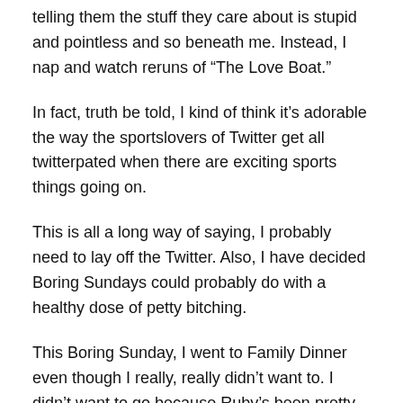telling them the stuff they care about is stupid and pointless and so beneath me. Instead, I nap and watch reruns of “The Love Boat.”
In fact, truth be told, I kind of think it’s adorable the way the sportslovers of Twitter get all twitterpated when there are exciting sports things going on.
This is all a long way of saying, I probably need to lay off the Twitter. Also, I have decided Boring Sundays could probably do with a healthy dose of petty bitching.
This Boring Sunday, I went to Family Dinner even though I really, really didn’t want to. I didn’t want to go because Ruby’s been pretty inconsistent with her desire to start when I turn the key, and it’s really, really very cold out — so cold out the governor pretty much cancelled Monday. But the…